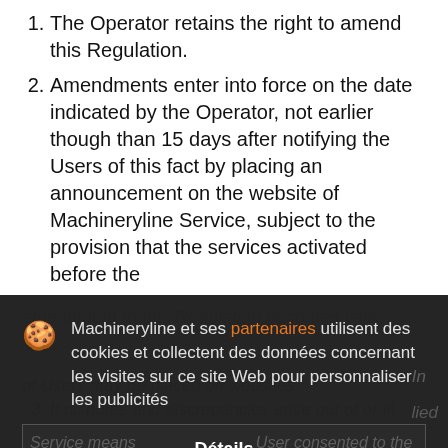The Operator retains the right to amend this Regulation.
Amendments enter into force on the date indicated by the Operator, not earlier though than 15 days after notifying the Users of this fact by placing an announcement on the website of Machineryline Service, subject to the provision that the services activated before the amendment to this Regulation becomes valid ... immediately refrain from using the services of Machineryline Service. Further use of the Service means the User consented to the valid version of the Regulations. Information ... of Users may be placed on websites.
[Figure (screenshot): Cookie consent overlay with cookie emoji icon, French text: 'Machineryline et ses partenaires utilisent des cookies et collectent des données concernant les visites sur ce site Web pour personnaliser les publicités', with 'Détails' button and 'Accepter et fermer' orange button.]
If disputes and discrepancies arise out of or in...